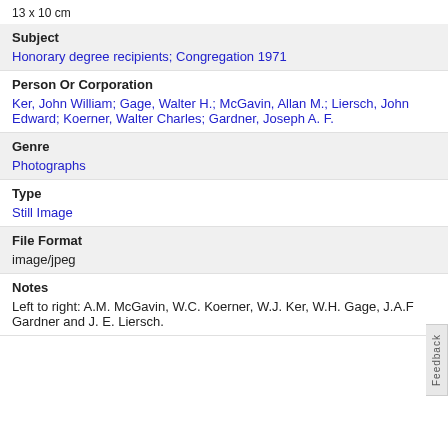13 x 10 cm
Subject
Honorary degree recipients; Congregation 1971
Person Or Corporation
Ker, John William; Gage, Walter H.; McGavin, Allan M.; Liersch, John Edward; Koerner, Walter Charles; Gardner, Joseph A. F.
Genre
Photographs
Type
Still Image
File Format
image/jpeg
Notes
Left to right: A.M. McGavin, W.C. Koerner, W.J. Ker, W.H. Gage, J.A.F Gardner and J. E. Liersch.